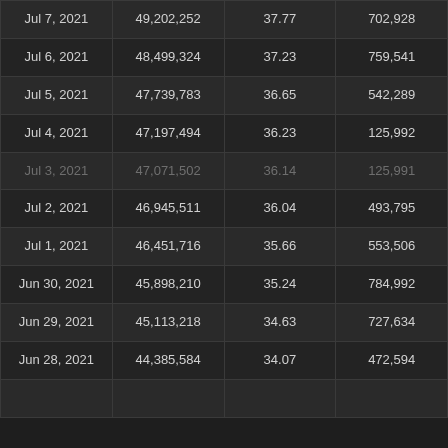| Jul 7, 2021 | 49,202,252 | 37.77 | 702,928 |
| Jul 6, 2021 | 48,499,324 | 37.23 | 759,541 |
| Jul 5, 2021 | 47,739,783 | 36.65 | 542,289 |
| Jul 4, 2021 | 47,197,494 | 36.23 | 125,992 |
| Jul 3, 2021 | 47,071,502 | 36.14 | 125,991 |
| Jul 2, 2021 | 46,945,511 | 36.04 | 493,795 |
| Jul 1, 2021 | 46,451,716 | 35.66 | 553,506 |
| Jun 30, 2021 | 45,898,210 | 35.24 | 784,992 |
| Jun 29, 2021 | 45,113,218 | 34.63 | 727,634 |
| Jun 28, 2021 | 44,385,584 | 34.07 | 472,594 |